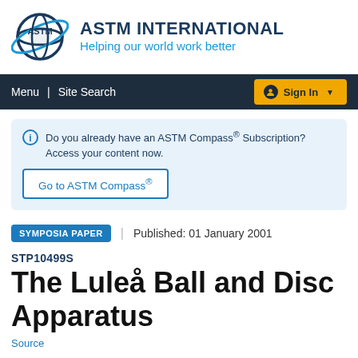[Figure (logo): ASTM International logo with circular globe and text, alongside organization name and tagline]
ASTM INTERNATIONAL
Helping our world work better
Menu | Site Search   Sign In
Do you already have an ASTM Compass® Subscription? Access your content now.
Go to ASTM Compass®
SYMPOSIA PAPER   |   Published: 01 January 2001
STP10499S
The Luleå Ball and Disc Apparatus
Source